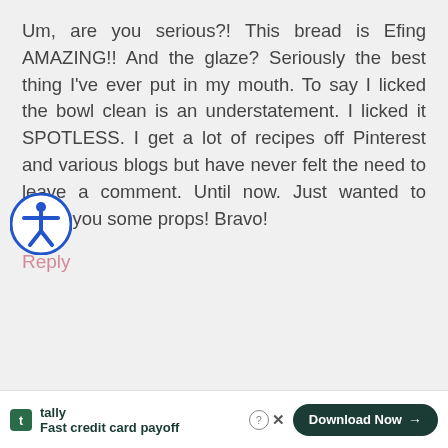Um, are you serious?! This bread is Efing AMAZING!! And the glaze? Seriously the best thing I've ever put in my mouth. To say I licked the bowl clean is an understatement. I licked it SPOTLESS. I get a lot of recipes off Pinterest and various blogs but have never felt the need to leave a comment. Until now. Just wanted to shoot you some props! Bravo!
Reply
tally Fast credit card payoff | Download Now →